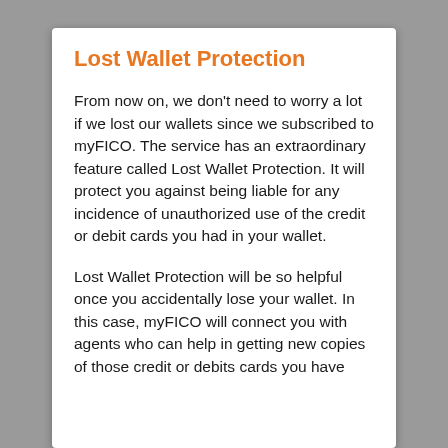Lost Wallet Protection
From now on, we don't need to worry a lot if we lost our wallets since we subscribed to myFICO. The service has an extraordinary feature called Lost Wallet Protection. It will protect you against being liable for any incidence of unauthorized use of the credit or debit cards you had in your wallet.
Lost Wallet Protection will be so helpful once you accidentally lose your wallet. In this case, myFICO will connect you with agents who can help in getting new copies of those credit or debits cards you have